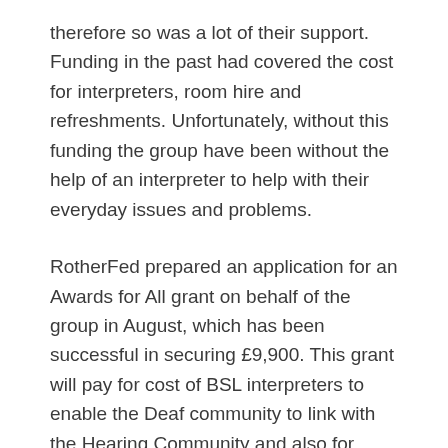therefore so was a lot of their support. Funding in the past had covered the cost for interpreters, room hire and refreshments. Unfortunately, without this funding the group have been without the help of an interpreter to help with their everyday issues and problems.
RotherFed prepared an application for an Awards for All grant on behalf of the group in August, which has been successful in securing £9,900. This grant will pay for cost of BSL interpreters to enable the Deaf community to link with the Hearing Community and also for room hire, refreshments, activities and training.
This is fantastic news for Rotherham Deaf Futures as they can now continue to support the